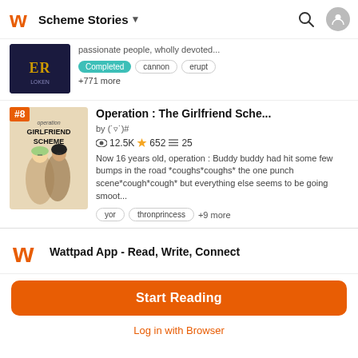Scheme Stories
passionate people, wholly devoted...
Completed  cannon  erupt
+771 more
Operation : The Girlfriend Sche...
by (˙▿˙)#
12.5K ★652 ≡25
Now 16 years old, operation : Buddy buddy had hit some few bumps in the road *coughs*coughs* the one punch scene*cough*cough* but everything else seems to be going smoot...
yor  thronprincess  +9 more
Wattpad App - Read, Write, Connect
Start Reading
Log in with Browser